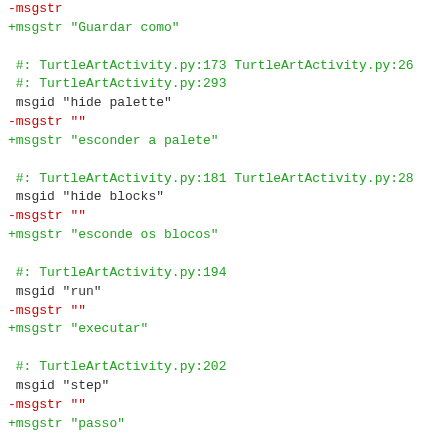-msgstr
+msgstr "Guardar como"

 #: TurtleArtActivity.py:173 TurtleArtActivity.py:26
 #: TurtleArtActivity.py:293
 msgid "hide palette"
-msgstr ""
+msgstr "esconder a palete"

 #: TurtleArtActivity.py:181 TurtleArtActivity.py:28
 msgid "hide blocks"
-msgstr ""
+msgstr "esconde os blocos"

 #: TurtleArtActivity.py:194
 msgid "run"
-msgstr ""
+msgstr "executar"

 #: TurtleArtActivity.py:202
 msgid "step"
-msgstr ""
+msgstr "passo"

 #: TurtleArtActivity.py:210
 msgid "stop turtle"
-msgstr ""
+msgstr "parar tartaruga"

 #: TurtleArtActivity.py:236
 msgid "samples"